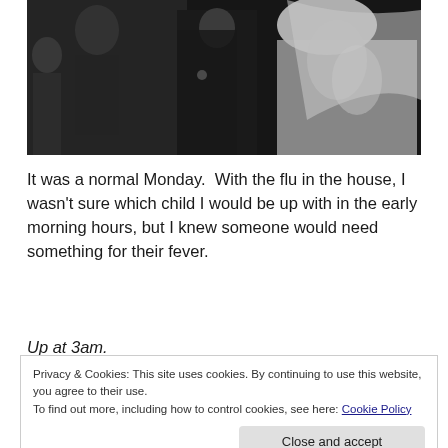[Figure (photo): Black and white wedding photo showing people in formal attire, bride in white lace gown with veil visible on right side, other figures in dark suits on left.]
It was a normal Monday.  With the flu in the house, I wasn't sure which child I would be up with in the early morning hours, but I knew someone would need something for their fever.
Up at 3am.
Privacy & Cookies: This site uses cookies. By continuing to use this website, you agree to their use.
To find out more, including how to control cookies, see here: Cookie Policy
Close and accept
was up and didn't know what she wanted exactly, but she